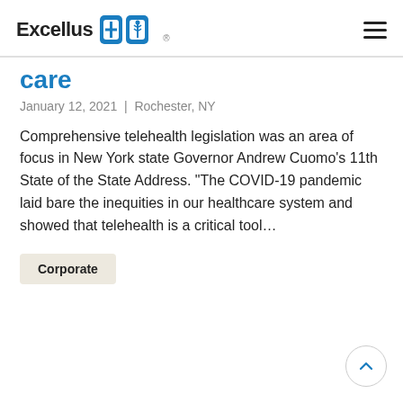Excellus BlueCross BlueShield
care
January 12, 2021 | Rochester, NY
Comprehensive telehealth legislation was an area of focus in New York state Governor Andrew Cuomo’s 11th State of the State Address. “The COVID-19 pandemic laid bare the inequities in our healthcare system and showed that telehealth is a critical tool…
Corporate